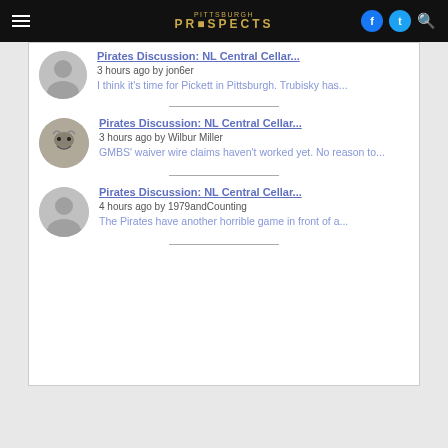Pirates Prospects navigation bar with menu, logo, Facebook, Twitter, search icons
Pirates Discussion: NL Central Cellar...
3 hours ago by jon6er
I think it's time for Pickett in Pittsburgh. Trubisky has...
Pirates Discussion: NL Central Cellar...
3 hours ago by Wilbur Miller
GMBS' waiver wire claims haven't worked yet. No reason to...
Pirates Discussion: NL Central Cellar...
4 hours ago by 1979andCounting
The Pirates have another horrible game in front of a...